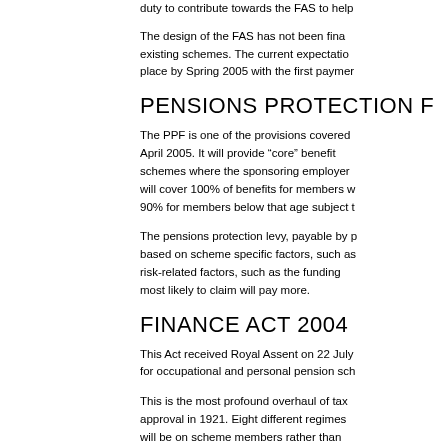duty to contribute towards the FAS to help...
The design of the FAS has not been final... existing schemes. The current expectatio... place by Spring 2005 with the first paymer...
PENSIONS PROTECTION F...
The PPF is one of the provisions covered... April 2005. It will provide “core” benefit... schemes where the sponsoring employer... will cover 100% of benefits for members w... 90% for members below that age subject t...
The pensions protection levy, payable by p... based on scheme specific factors, such as... risk-related factors, such as the funding... most likely to claim will pay more.
FINANCE ACT 2004
This Act received Royal Assent on 22 July... for occupational and personal pension sch...
This is the most profound overhaul of tax... approval in 1921. Eight different regimes... will be on scheme members rather than... allowances, one lifetime and one annual...